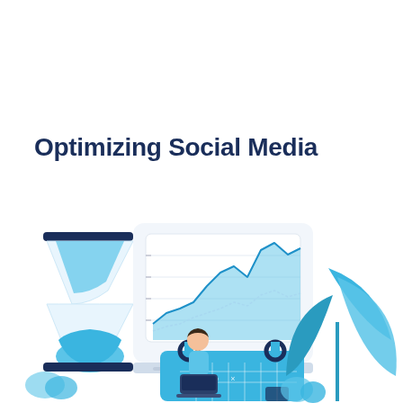Optimizing Social Media
[Figure (illustration): Flat-style illustration showing a blue hourglass, a person working on a laptop, an area/line chart on a tablet/screen showing growth trend in blue, a calendar/planner in blue, and tropical blue plant leaves — representing social media optimization concepts.]